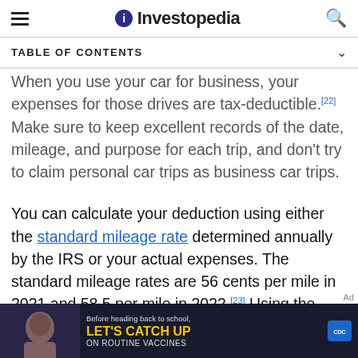Investopedia
TABLE OF CONTENTS
When you use your car for business, your expenses for those drives are tax-deductible.[22] Make sure to keep excellent records of the date, mileage, and purpose for each trip, and don't try to claim personal car trips as business car trips.
You can calculate your deduction using either the standard mileage rate determined annually by the IRS or your actual expenses. The standard mileage rates are 56 cents per mile in 2021 and 58.5 per mile in 2022.[23] Using the standard mileage rate is easiest because it requires minimal record-keeping and
[Figure (screenshot): CDC advertisement banner: 'Before heading back to school, LET'S CATCH UP ON ROUTINE VACCINES' with CDC logo]